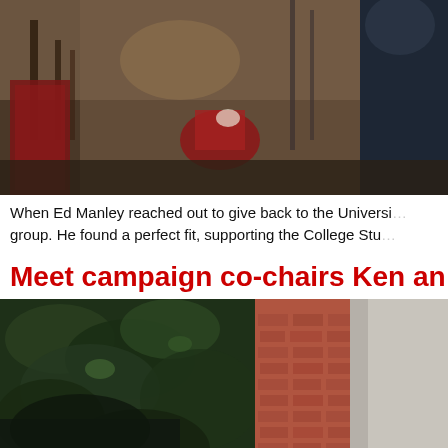[Figure (photo): Indoor photo showing red objects and a person on the right side, partially cropped]
When Ed Manley reached out to give back to the Universi... group. He found a perfect fit, supporting the College Stu...
Meet campaign co-chairs Ken an...
[Figure (photo): Outdoor photo showing ivy-covered wall and brick building, partially cropped]